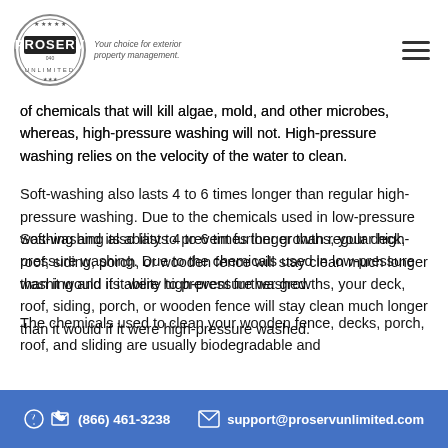ProServ Unlimited — Your choice for exterior property management.
of chemicals that will kill algae, mold, and other microbes, whereas, high-pressure washing will not. High-pressure washing relies on the velocity of the water to clean.
Soft-washing also lasts 4 to 6 times longer than regular high-pressure washing. Due to the chemicals used in low-pressure washing and its ability to prevent further growths, your deck, roof, siding, porch, or wooden fence will stay clean much longer than it would if it were high-pressure washed.
The chemicals used to clean your wooden fence, decks, porch, roof, and sliding are usually biodegradable and
(866) 461-3238   support@proservunlimited.com